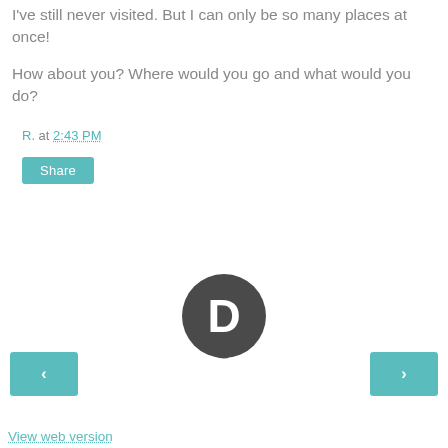I've still never visited. But I can only be so many places at once!
How about you? Where would you go and what would you do?
R. at 2:43 PM
Share
[Figure (logo): Disqus logo — dark grey speech bubble with a white letter D inside]
‹
›
View web version